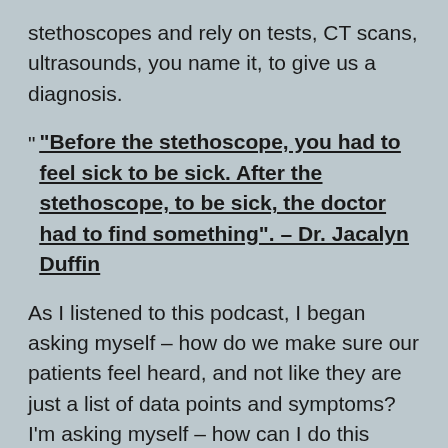stethoscopes and rely on tests, CT scans, ultrasounds, you name it, to give us a diagnosis.
" "Before the stethoscope, you had to feel sick to be sick. After the stethoscope, to be sick, the doctor had to find something". – Dr. Jacalyn Duffin
As I listened to this podcast, I began asking myself – how do we make sure our patients feel heard, and not like they are just a list of data points and symptoms? I'm asking myself – how can I do this better? How can I ensure